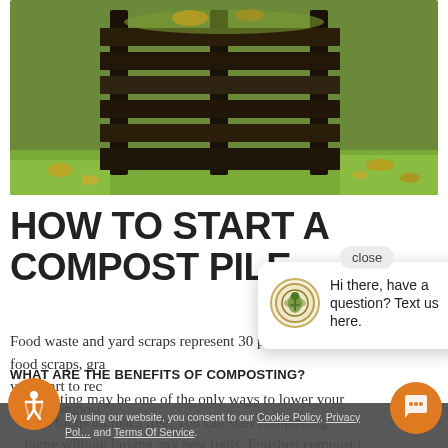[Figure (photo): Wooden compost bin/crate outdoors on grass with fallen leaves, dark wood slats structure]
HOW TO START A COMPOST PILE
Food waste and yard scraps represent 30 percent of what typical homeowners toss out. By creating compost out of food scraps, gra... your part to rec... start a compost...
WHAT ARE THE BENEFITS OF COMPOSTING?
Composting may be one of the only ways to lower your carbon footprint that's free. You can start composting at home without buying any new tools. Finished compost is a more earth-friendly way to nurture your plants than
[Figure (screenshot): Chat popup overlay with tree logo icon and message 'Hi there, have a question? Text us here.' with a close button]
By using our website, you consent to our Cookie Policy, Privacy Policy and Terms Of Service.